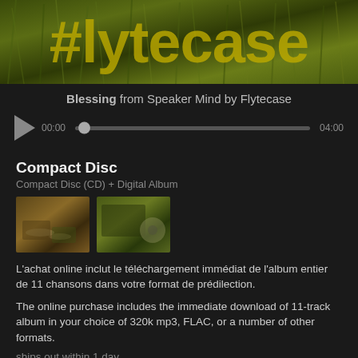[Figure (photo): Banner image with green grass/wheat background and 'Flytecase' text overlay in yellow-green color]
Blessing from Speaker Mind by Flytecase
[Figure (other): Audio player with play button, time display 00:00, scrubber bar, and end time 04:00]
Compact Disc
Compact Disc (CD) + Digital Album
[Figure (photo): Two thumbnail photos of CD album product: stacked CDs and open album case]
L'achat online inclut le téléchargement immédiat de l'album entier de 11 chansons dans votre format de prédilection.
The online purchase includes the immediate download of 11-track album in your choice of 320k mp3, FLAC, or a number of other formats.
ships out within 1 day.